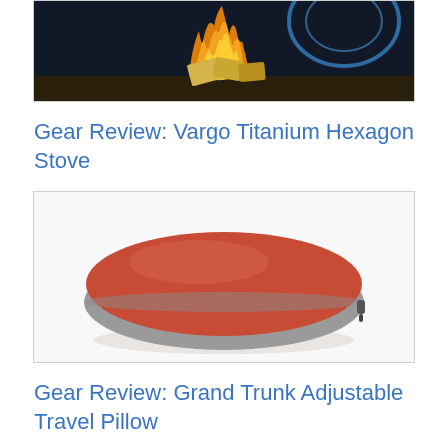[Figure (photo): Photo of a campfire with burning paper/fuel, flames visible against dark background with blue light — top portion cropped]
Gear Review: Vargo Titanium Hexagon Stove
[Figure (photo): Photo of a red and gray inflatable travel pillow on white background]
Gear Review: Grand Trunk Adjustable Travel Pillow
[Figure (photo): Partial photo of a Washington Cycling guide book/poster with teal ribbon and gear icon, text says CYCLING, bottom cropped]